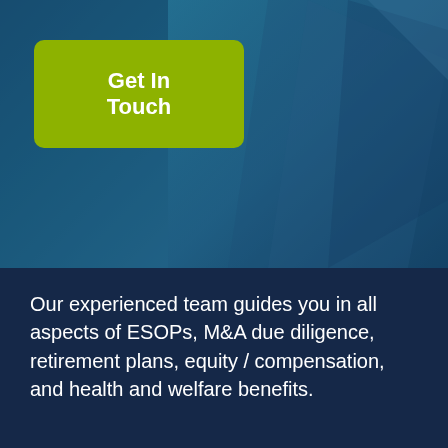[Figure (photo): Hero image with blue-teal tinted photo background showing a person, partially visible. A yellow-green 'Get In Touch' button overlaid on the left side.]
Our experienced team guides you in all aspects of ESOPs, M&A due diligence, retirement plans, equity / compensation, and health and welfare benefits.